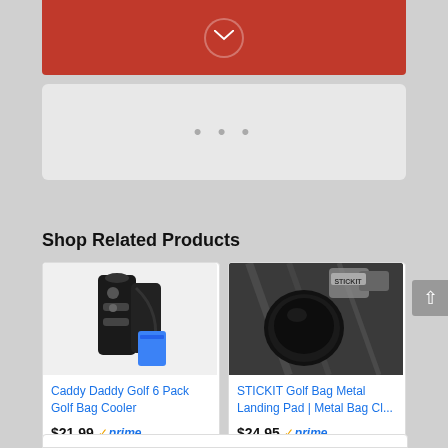[Figure (screenshot): Red banner with mail/envelope icon in circular button at top]
[Figure (screenshot): Gray panel with three dots (ellipsis) indicating loading or more options]
Shop Related Products
[Figure (photo): Caddy Daddy Golf 6 Pack Golf Bag Cooler - black golf bag with blue cooler]
Caddy Daddy Golf 6 Pack Golf Bag Cooler
$21.99 prime (966 reviews, 4.5 stars)
[Figure (photo): STICKIT Golf Bag Metal Landing Pad - black circular pad attached to golf bag]
STICKIT Golf Bag Metal Landing Pad | Metal Bag Cl...
$24.95 prime (365 reviews, 4 stars)